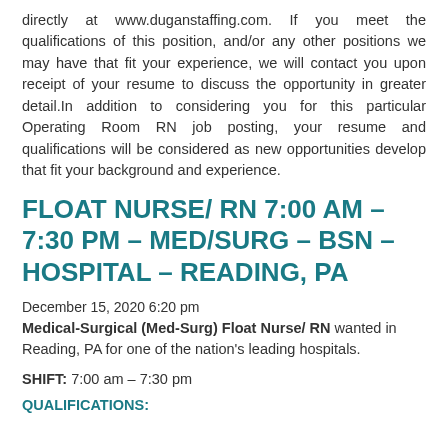directly at www.duganstaffing.com. If you meet the qualifications of this position, and/or any other positions we may have that fit your experience, we will contact you upon receipt of your resume to discuss the opportunity in greater detail.In addition to considering you for this particular Operating Room RN job posting, your resume and qualifications will be considered as new opportunities develop that fit your background and experience.
FLOAT NURSE/ RN 7:00 AM – 7:30 PM – MED/SURG – BSN – HOSPITAL – READING, PA
December 15, 2020 6:20 pm
Medical-Surgical (Med-Surg) Float Nurse/ RN wanted in Reading, PA for one of the nation's leading hospitals.
SHIFT:  7:00 am – 7:30 pm
QUALIFICATIONS: